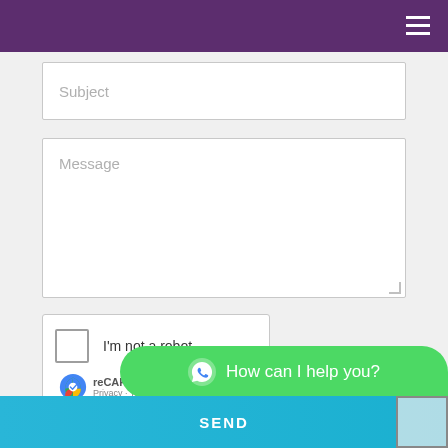Navigation header with hamburger menu
Subject
Message
[Figure (screenshot): reCAPTCHA widget with checkbox labeled 'I'm not a robot' and reCAPTCHA branding with Privacy and Terms links]
[Figure (other): WhatsApp chat bubble with text 'How can I help you?']
SEND